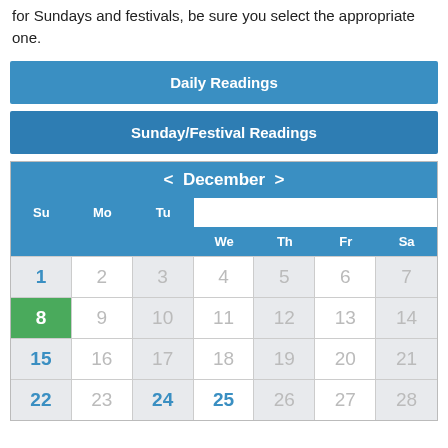for Sundays and festivals, be sure you select the appropriate one.
Daily Readings
Sunday/Festival Readings
[Figure (other): December calendar showing dates 1-28+, with day 8 highlighted in green, Sundays (1,8,15,22) in blue, navigation arrows for previous/next month]